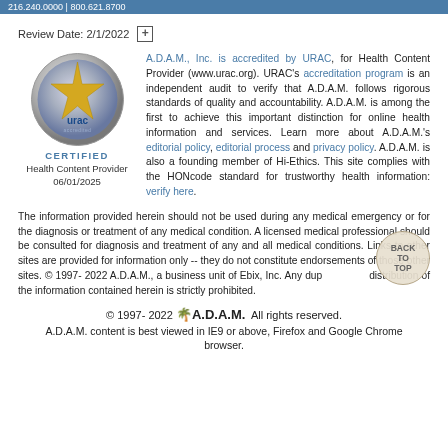216.240.0000 | 800.621.8700
Review Date: 2/1/2022
[Figure (logo): URAC certified Health Content Provider logo - circular silver badge with star and URAC text, labeled CERTIFIED, Health Content Provider 06/01/2025]
A.D.A.M., Inc. is accredited by URAC, for Health Content Provider (www.urac.org). URAC's accreditation program is an independent audit to verify that A.D.A.M. follows rigorous standards of quality and accountability. A.D.A.M. is among the first to achieve this important distinction for online health information and services. Learn more about A.D.A.M.'s editorial policy, editorial process and privacy policy. A.D.A.M. is also a founding member of Hi-Ethics. This site complies with the HONcode standard for trustworthy health information: verify here.
The information provided herein should not be used during any medical emergency or for the diagnosis or treatment of any medical condition. A licensed medical professional should be consulted for diagnosis and treatment of any and all medical conditions. Links to other sites are provided for information only -- they do not constitute endorsements of those other sites. © 1997- 2022 A.D.A.M., a business unit of Ebix, Inc. Any duplication or distribution of the information contained herein is strictly prohibited.
© 1997- 2022 A.D.A.M. All rights reserved. A.D.A.M. content is best viewed in IE9 or above, Firefox and Google Chrome browser.